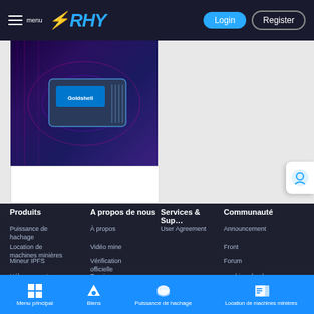menu ⚡RHY  Login  Register
[Figure (screenshot): Screenshot of a cryptocurrency mining hardware product shown on a dark purple background with bright lighting effects]
Produits  A propos de nous  Services & Sup…  Communauté
Puissance de hachage
Location de machines minières
Mineur IPFS
Hébergement
À propos
Vidéo mine
Vérification officielle
Remise recommandée
Commentaires
User Agreement
Announcement
Front
Forum
newbie school
Encyclopedia
Menu principal  Biens  Puissance de hachage  Location de machines minières